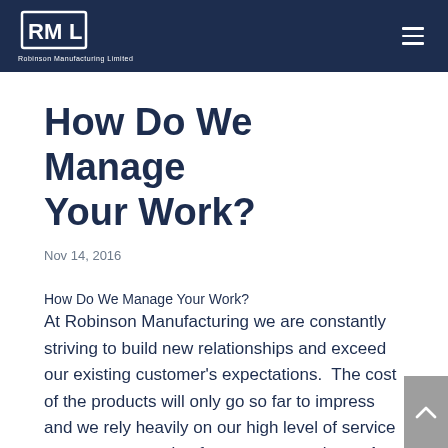Robinson Manufacturing Limited
How Do We Manage Your Work?
Nov 14, 2016
How Do We Manage Your Work?
At Robinson Manufacturing we are constantly striving to build new relationships and exceed our existing customer's expectations.  The cost of the products will only go so far to impress and we rely heavily on our high level of service to create separation from our competitors.  A